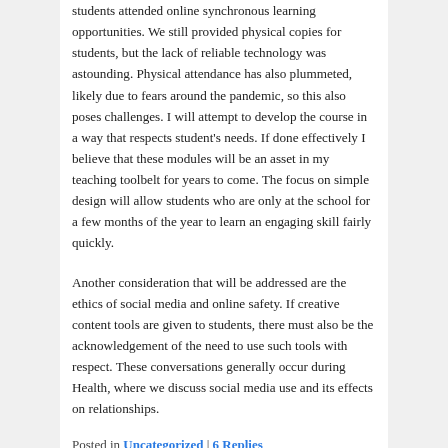students attended online synchronous learning opportunities. We still provided physical copies for students, but the lack of reliable technology was astounding. Physical attendance has also plummeted, likely due to fears around the pandemic, so this also poses challenges. I will attempt to develop the course in a way that respects student's needs. If done effectively I believe that these modules will be an asset in my teaching toolbelt for years to come. The focus on simple design will allow students who are only at the school for a few months of the year to learn an engaging skill fairly quickly.
Another consideration that will be addressed are the ethics of social media and online safety. If creative content tools are given to students, there must also be the acknowledgement of the need to use such tools with respect. These conversations generally occur during Health, where we discuss social media use and its effects on relationships.
Posted in Uncategorized | 6 Replies